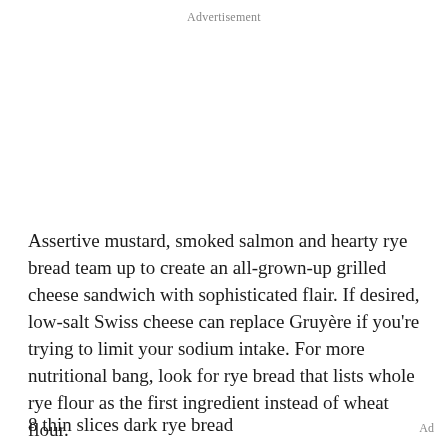Advertisement
Assertive mustard, smoked salmon and hearty rye bread team up to create an all-grown-up grilled cheese sandwich with sophisticated flair. If desired, low-salt Swiss cheese can replace Gruyère if you're trying to limit your sodium intake. For more nutritional bang, look for rye bread that lists whole rye flour as the first ingredient instead of wheat flour.
8 thin slices dark rye bread